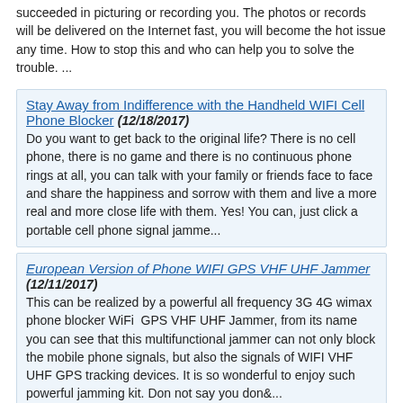succeeded in picturing or recording you. The photos or records will be delivered on the Internet fast, you will become the hot issue any time. How to stop this and who can help you to solve the trouble. ...
Stay Away from Indifference with the Handheld WIFI Cell Phone Blocker (12/18/2017)
Do you want to get back to the original life? There is no cell phone, there is no game and there is no continuous phone rings at all, you can talk with your family or friends face to face and share the happiness and sorrow with them and live a more real and more close life with them. Yes! You can, just click a portable cell phone signal jamme...
European Version of Phone WIFI GPS VHF UHF Jammer (12/11/2017)
This can be realized by a powerful all frequency 3G 4G wimax phone blocker WiFi  GPS VHF UHF Jammer, from its name you can see that this multifunctional jammer can not only block the mobile phone signals, but also the signals of WIFI VHF UHF GPS tracking devices. It is so wonderful to enjoy such powerful jamming kit. Don not say you don&...
Stop Mobile Games with Cell Phone WIFI Blocker (12/04/2017)